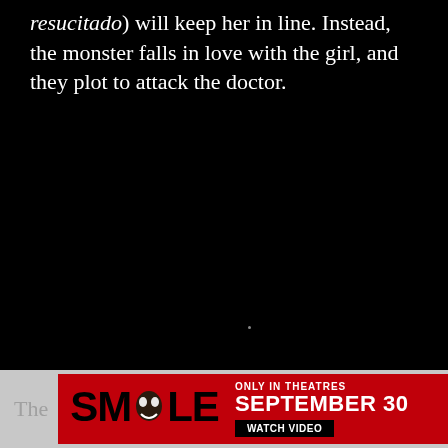resucitado) will keep her in line. Instead, the monster falls in love with the girl, and they plot to attack the doctor.
[Figure (illustration): Large dark/black region occupying the middle portion of the page]
The
[Figure (other): Advertisement banner for the movie SMILE — red background, bold black SMILE text with a face in the letter M, text reading ONLY IN THEATRES SEPTEMBER 30, WATCH VIDEO button, and a Rated R box]